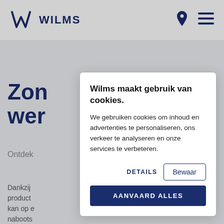[Figure (logo): Wilms logo with stylized W icon and text WILMS in dark navy blue]
Wilms header with logo, location pin icon, and hamburger menu icon
Zon... wer...
Ontdek...
Dankzij... product... kan op e... naboots...
product op maat van jouw woning vinden.
Wilms maakt gebruik van cookies.
We gebruiken cookies om inhoud en advertenties te personaliseren, ons verkeer te analyseren en onze services te verbeteren.
DETAILS
Bewaar
AANVAARD ALLES